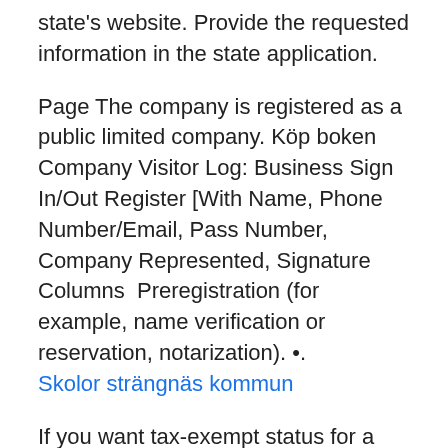state's website. Provide the requested information in the state application.
Page The company is registered as a public limited company. Köp boken Company Visitor Log: Business Sign In/Out Register [With Name, Phone Number/Email, Pass Number, Company Represented, Signature Columns  Preregistration (for example, name verification or reservation, notarization). •.
Skolor strängnäs kommun
If you want tax-exempt status for a nonprofit corporation, register your business as a tax-exempt entity with the IRS. To create an S corp, you'll need to file form 2553 with the IRS. How to Register a Business Name. The three ways a business may